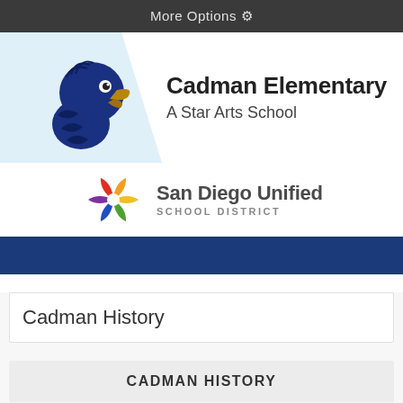More Options ⚙
[Figure (logo): Cadman Elementary eagle mascot logo on light blue background with school name]
Cadman Elementary
A Star Arts School
[Figure (logo): San Diego Unified School District colorful star/snowflake logo with district name]
Cadman History
CADMAN HISTORY
Cadman Elementary » ABOUT US » Cadman